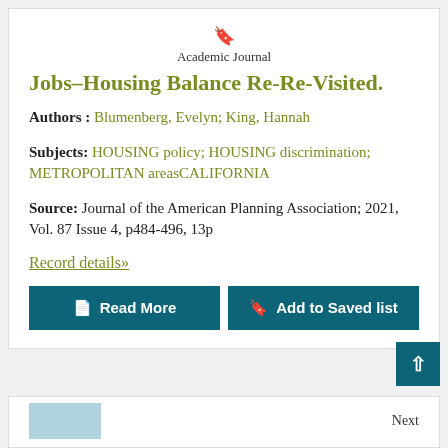Academic Journal
Jobs–Housing Balance Re-Re-Visited.
Authors : Blumenberg, Evelyn; King, Hannah
Subjects: HOUSING policy; HOUSING discrimination; METROPOLITAN areasCALIFORNIA
Source: Journal of the American Planning Association; 2021, Vol. 87 Issue 4, p484-496, 13p
Record details»
Read More
Add to Saved list